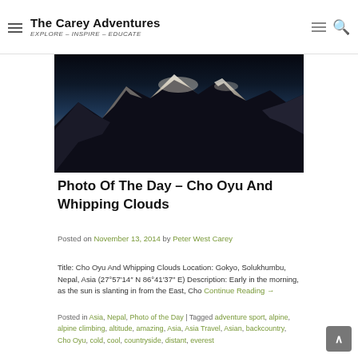The Carey Adventures — EXPLORE – INSPIRE – EDUCATE
[Figure (photo): Mountain photo showing Cho Oyu snow-covered peaks with dark sky and rocky terrain]
Photo Of The Day – Cho Oyu And Whipping Clouds
Posted on November 13, 2014 by Peter West Carey
Title: Cho Oyu And Whipping Clouds Location: Gokyo, Solukhumbu, Nepal, Asia (27°57′14″ N  86°41′37″ E) Description: Early in the morning, as the sun is slanting in from the East, Cho Continue Reading →
Posted in Asia, Nepal, Photo of the Day | Tagged adventure sport, alpine, alpine climbing, altitude, amazing, Asia, Asia Travel, Asian, backcountry, Cho Oyu, cold, cool, countryside, distant, everest